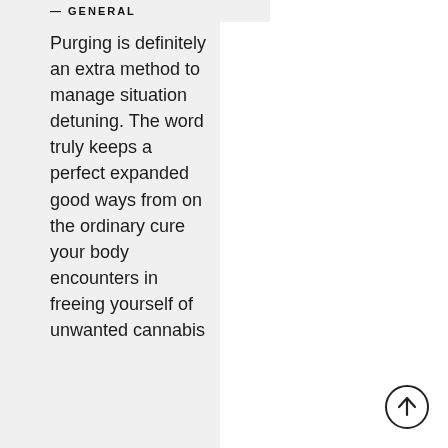GENERAL
Purging is definitely an extra method to manage situation detuning. The word truly keeps a perfect expanded good ways from on the ordinary cure your body encounters in freeing yourself of unwanted cannabis